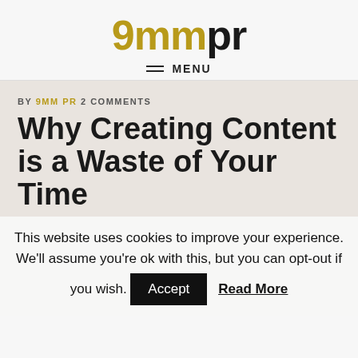9mmpr
MENU
BY 9MM PR 2 COMMENTS
Why Creating Content is a Waste of Your Time
This website uses cookies to improve your experience. We'll assume you're ok with this, but you can opt-out if you wish. Accept Read More